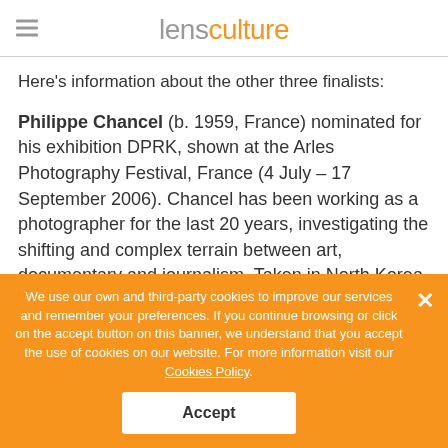lensculture
Here’s information about the other three finalists:
Philippe Chancel (b. 1959, France) nominated for his exhibition DPRK, shown at the Arles Photography Festival, France (4 July – 17 September 2006). Chancel has been working as a photographer for the last 20 years, investigating the shifting and complex terrain between art, documentary and journalism. Taken in North Korea in 2005, the crisp color photographs in this series provide a chilling and detached comment
We use our own and third-party cookies to improve our services and remember your preferences. If you continue browsing or click on the accept button on this banner, we understand that you accept the use of cookies on our website. For more information visit our Cookies Policy.
Accept